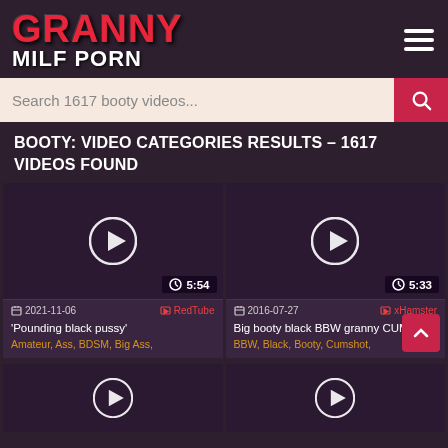[Figure (logo): Granny Milf Porn website logo with red text GRANNY and white text MILF PORN]
Search 1617 booty videos...
BOOTY: VIDEO CATEGORIES RESULTS – 1617 VIDEOS FOUND
[Figure (screenshot): Video thumbnail 1 with play button, duration 5:54, date 2021-11-06, source RedTube, title 'Pounding black pussy', tags: Amateur, Ass, BDSM, Big Ass]
[Figure (screenshot): Video thumbnail 2 with play button, duration 5:33, date 2016-07-27, source xHamster, title 'Big booty black BBW granny CUM...', tags: BBW, Black, Booty, Cumshot]
[Figure (screenshot): Video thumbnail 3 (partial), play button visible]
[Figure (screenshot): Video thumbnail 4 (partial), play button visible]